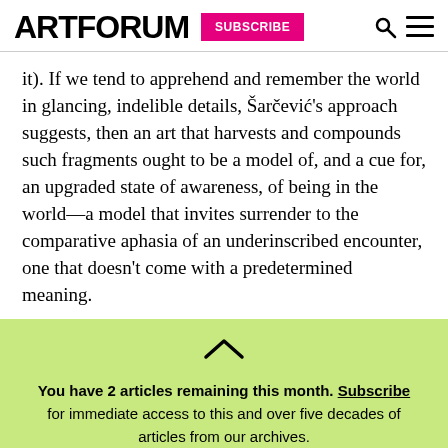ARTFORUM | SUBSCRIBE
it). If we tend to apprehend and remember the world in glancing, indelible details, Šarčević's approach suggests, then an art that harvests and compounds such fragments ought to be a model of, and a cue for, an upgraded state of awareness, of being in the world—a model that invites surrender to the comparative aphasia of an underinscribed encounter, one that doesn't come with a predetermined meaning.
You have 2 articles remaining this month. Subscribe for immediate access to this and over five decades of articles from our archives.